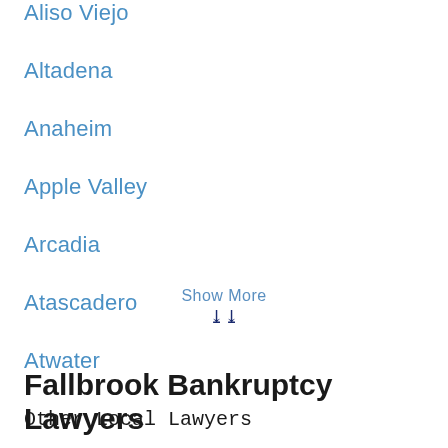Aliso Viejo
Altadena
Anaheim
Apple Valley
Arcadia
Atascadero
Atwater
Show More
Fallbrook Bankruptcy Lawyers
Other Local Lawyers